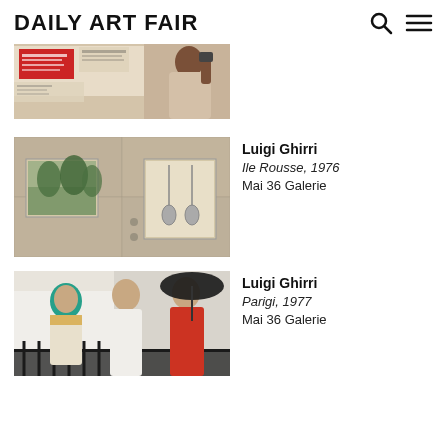Daily Art Fair
[Figure (photo): Person viewed from behind, looking at colorful street posters on a wall, including a red poster. Vintage photograph.]
[Figure (photo): Architectural photograph showing concrete wall with inset framed artwork pieces, one showing trees, one showing hanging pendulums. Luigi Ghirri, Ile Rousse, 1976.]
Luigi Ghirri
Ile Rousse, 1976
Mai 36 Galerie
[Figure (photo): Three women standing together, one with a teal headscarf, one in white, one in red holding a black umbrella. Luigi Ghirri, Parigi, 1977.]
Luigi Ghirri
Parigi, 1977
Mai 36 Galerie